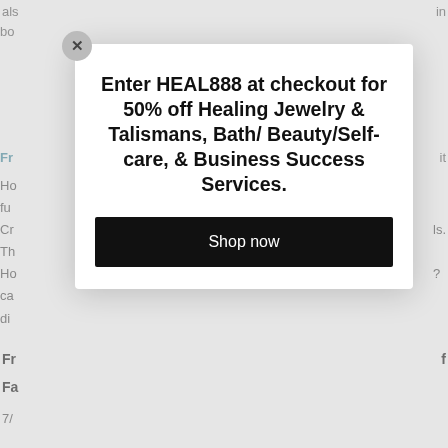als
in
bo
Fr
it
Ho
fu
?
Cr
ls.
Th
Ho
ca
di
*/
pu
[Figure (screenshot): Promotional modal popup overlay on a webpage. A white modal box with a close (X) button in the top-left corner contains bold black text reading: 'Enter HEAL888 at checkout for 50% off Healing Jewelry & Talismans, Bath/ Beauty/Self-care, & Business Success Services.' Below the text is a black 'Shop now' button. The modal overlays partially obscured background page content.]
Fr
f
Fa
7/